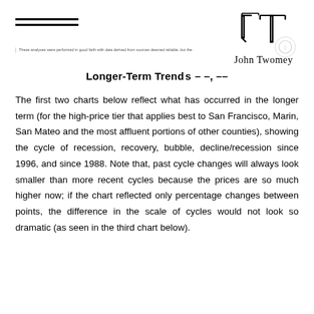John Twomey
These analyses were performed in good faith with data derived from sources deemed reliable, but the
Longer-Term Trends – –, ––
The first two charts below reflect what has occurred in the longer term (for the high-price tier that applies best to San Francisco, Marin, San Mateo and the most affluent portions of other counties), showing the cycle of recession, recovery, bubble, decline/recession since 1996, and since 1988. Note that, past cycle changes will always look smaller than more recent cycles because the prices are so much higher now; if the chart reflected only percentage changes between points, the difference in the scale of cycles would not look so dramatic (as seen in the third chart below).